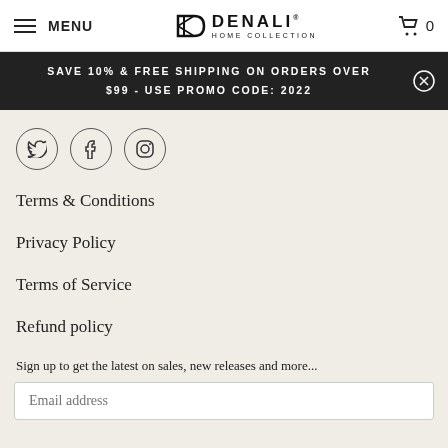MENU | DENALI HOME COLLECTION | 0
SAVE 10% & FREE SHIPPING ON ORDERS OVER $99 - USE PROMO CODE: 2022
[Figure (illustration): Social media icons: Twitter, Facebook, Instagram (circle outlines)]
Terms & Conditions
Privacy Policy
Terms of Service
Refund policy
Sign up to get the latest on sales, new releases and more...
Email address